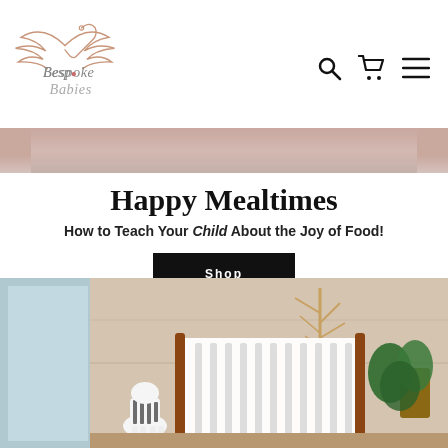[Figure (logo): Bespoke Babies brand logo with angel wings and text]
[Figure (screenshot): Navigation icons: search, cart, and hamburger menu]
[Figure (photo): Partial photo strip at top showing a child or person, cropped]
Happy Mealtimes
How to Teach Your Child About the Joy of Food!
Shop
[Figure (photo): Interior nursery/children's room photo showing a white wooden crib with brown wood accents, a zebra toy figurine, wooden tree wall decor, and a green plant, in a bright room with windows]